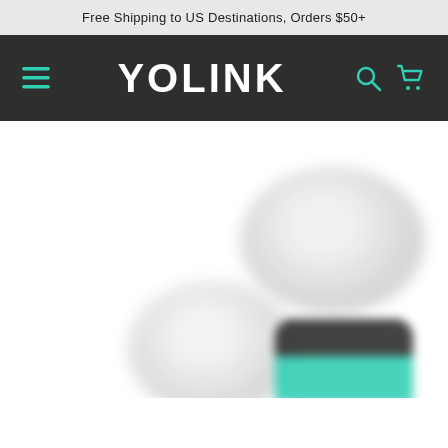Free Shipping to US Destinations, Orders $50+
[Figure (logo): YoLink website header with hamburger menu icon on left, YOLINK logo in white in center, search and cart icons in teal on right, all on dark gray background]
[Figure (photo): Blurred product photo showing two white circular YoLink smart home devices and a smartphone with teal/green screen, on white background]